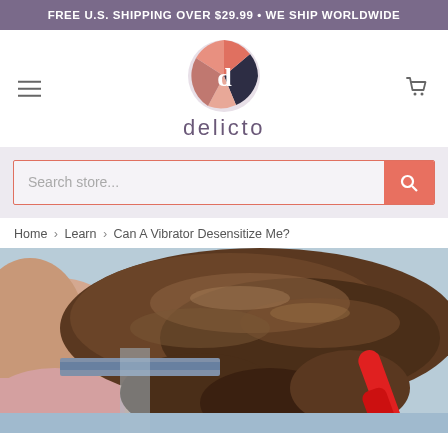FREE U.S. SHIPPING OVER $29.99  •  WE SHIP WORLDWIDE
[Figure (logo): Delicto brand logo — circular icon with coral/pink and dark navy geometric shapes with a lowercase 'd' in white, above the text 'delicto' in muted purple]
Search store...
Home › Learn › Can A Vibrator Desensitize Me?
[Figure (photo): Woman lying down with curly/wavy brown hair spread out on a light blue surface, wearing a pink top; a red object (vibrator) is visible in the lower right]